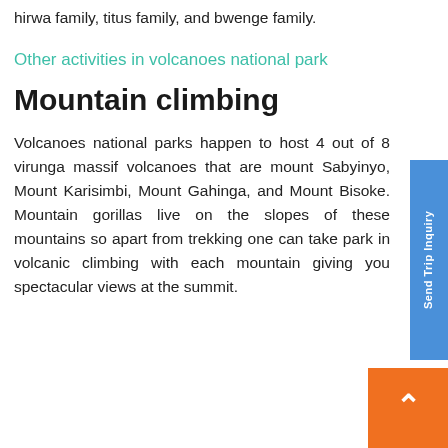hirwa family, titus family, and bwenge family.
Other activities in volcanoes national park
Mountain climbing
Volcanoes national parks happen to host 4 out of 8 virunga massif volcanoes that are mount Sabyinyo, Mount Karisimbi, Mount Gahinga, and Mount Bisoke. Mountain gorillas live on the slopes of these mountains so apart from trekking one can take park in volcanic climbing with each mountain giving you spectacular views at the summit.